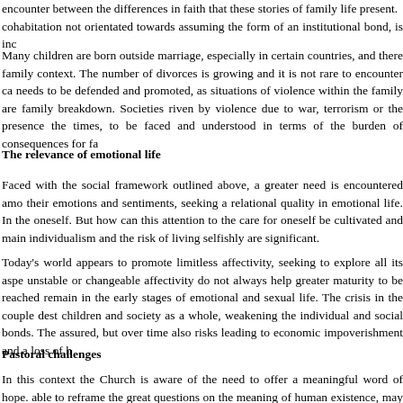encounter between the differences in faith that these stories of family life present. cohabitation not orientated towards assuming the form of an institutional bond, is inc
Many children are born outside marriage, especially in certain countries, and there family context. The number of divorces is growing and it is not rare to encounter ca needs to be defended and promoted, as situations of violence within the family are family breakdown. Societies riven by violence due to war, terrorism or the presence the times, to be faced and understood in terms of the burden of consequences for fa
The relevance of emotional life
Faced with the social framework outlined above, a greater need is encountered amo their emotions and sentiments, seeking a relational quality in emotional life. In the oneself. But how can this attention to the care for oneself be cultivated and main individualism and the risk of living selfishly are significant.
Today's world appears to promote limitless affectivity, seeking to explore all its aspe unstable or changeable affectivity do not always help greater maturity to be reached remain in the early stages of emotional and sexual life. The crisis in the couple dest children and society as a whole, weakening the individual and social bonds. The assured, but over time also risks leading to economic impoverishment and a loss of h
Pastoral challenges
In this context the Church is aware of the need to offer a meaningful word of hope. able to reframe the great questions on the meaning of human existence, may find t